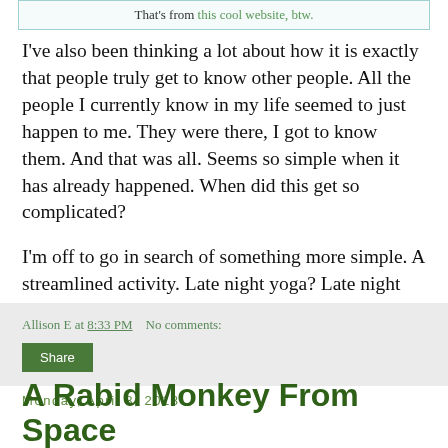That's from this cool website, btw.
I've also been thinking a lot about how it is exactly that people truly get to know other people. All the people I currently know in my life seemed to just happen to me. They were there, I got to know them. And that was all. Seems so simple when it has already happened. When did this get so complicated?
I'm off to go in search of something more simple. A streamlined activity. Late night yoga? Late night french fries? A warm bath? Maybe I should borrow some romance novels from work and smoke in them. I'll let you know what I decide.
Allison E at 8:33 PM   No comments:
Share
Monday, April 8, 2013
A Rabid Monkey From Space